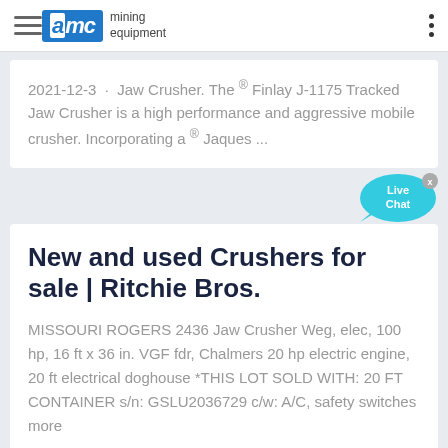AMC mining equipment
2021-12-3 · Jaw Crusher. The ® Finlay J-1175 Tracked Jaw Crusher is a high performance and aggressive mobile crusher. Incorporating a ® Jaques ...
[Figure (other): Live Chat speech bubble widget with close button]
New and used Crushers for sale | Ritchie Bros.
MISSOURI ROGERS 2436 Jaw Crusher Weg, elec, 100 hp, 16 ft x 36 in. VGF fdr, Chalmers 20 hp electric engine, 20 ft electrical doghouse *THIS LOT SOLD WITH: 20 FT CONTAINER s/n: GSLU2036729 c/w: A/C, safety switches more